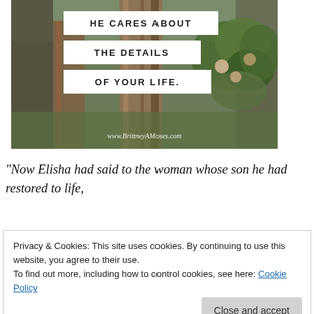[Figure (photo): Rustic outdoor photo with wooden fence post and floral wreath, overlaid with white text boxes reading 'HE CARES ABOUT THE DETAILS OF YOUR LIFE.' Watermark: www.BrittneyAMoses.com]
“Now Elisha had said to the woman whose son he had restored to life,
Privacy & Cookies: This site uses cookies. By continuing to use this website, you agree to their use.
To find out more, including how to control cookies, see here: Cookie Policy